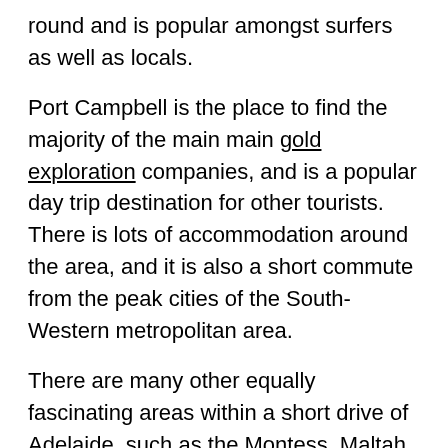round and is popular amongst surfers as well as locals.
Port Campbell is the place to find the majority of the main main gold exploration companies, and is a popular day trip destination for other tourists. There is lots of accommodation around the area, and it is also a short commute from the peak cities of the South-Western metropolitan area.
There are many other equally fascinating areas within a short drive of Adelaide, such as the Montess, Maltah or wiser Wharf areas. or the Midlands and East coastal areas. The key to Adelaide is its superb wine industry, so don't miss the Shiraz or Chardonnay there. The year is usually early in April, and there is not as much rainfall as in the summer months. So don't get wet in March to April, but try to stay on dry ground! Palmer Street which recently went through foundation crack repair renovation, is a